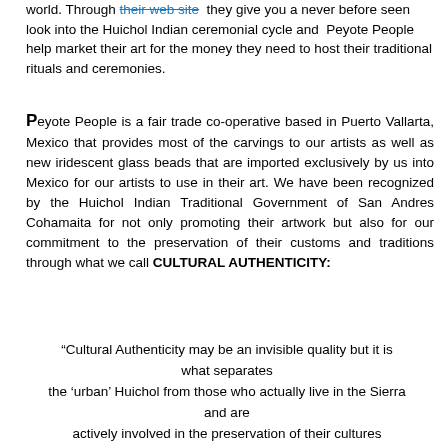world. Through their web site they give you a never before seen look into the Huichol Indian ceremonial cycle and Peyote People help market their art for the money they need to host their traditional rituals and ceremonies.
Peyote People is a fair trade co-operative based in Puerto Vallarta, Mexico that provides most of the carvings to our artists as well as new iridescent glass beads that are imported exclusively by us into Mexico for our artists to use in their art. We have been recognized by the Huichol Indian Traditional Government of San Andres Cohamaita for not only promoting their artwork but also for our commitment to the preservation of their customs and traditions through what we call CULTURAL AUTHENTICITY:
“Cultural Authenticity may be an invisible quality but it is what separates the ‘urban’ Huichol from those who actually live in the Sierra and are actively involved in the preservation of their cultures